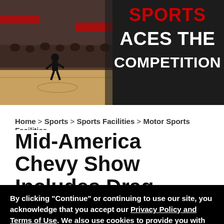[Figure (photo): Sports event photo on left with basketball court and crowd, overlaid with dark background text reading 'ACES THE COMPETITION' in large bold white and red letters on right side]
Home > Sports > Sports Facilities > Motor Sports Facilities
Mid-America Chevy Show Includes Drag Racing, Road
By clicking "Continue" or continuing to use our site, you acknowledge that you accept our Privacy Policy and Terms of Use. We also use cookies to provide you with the best possible experience on our website. Feel free to check out our policies anytime for more information.
Continue